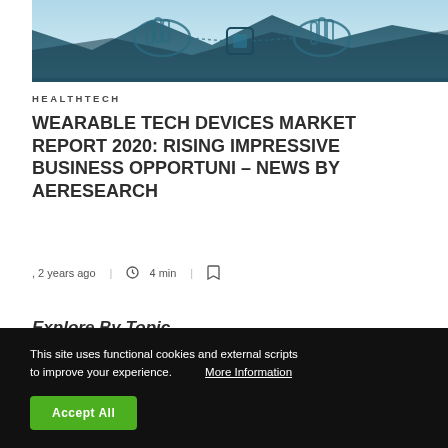[Figure (illustration): Hero banner image showing two hands in a teal/blue illustrated scene with wearable tech devices, geometric mountain shapes in background]
HEALTHTECH
WEARABLE TECH DEVICES MARKET REPORT 2020: RISING IMPRESSIVE BUSINESS OPPORTUNI – NEWS BY AERESEARCH
, 2 years ago  |  4 min  |  [bookmark icon]
Explore By Topic
This site uses functional cookies and external scripts to improve your experience.  More Information
Accept All